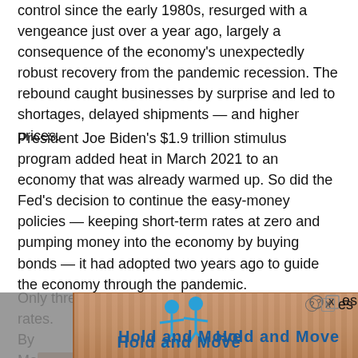control since the early 1980s, resurged with a vengeance just over a year ago, largely a consequence of the economy's unexpectedly robust recovery from the pandemic recession. The rebound caught businesses by surprise and led to shortages, delayed shipments — and higher prices.
President Joe Biden's $1.9 trillion stimulus program added heat in March 2021 to an economy that was already warmed up. So did the Fed's decision to continue the easy-money policies — keeping short-term rates at zero and pumping money into the economy by buying bonds — it had adopted two years ago to guide the economy through the pandemic.
Only three months ago did the Fed start raising rates. By Ma[...] es until th[...] that
[Figure (other): Advertisement overlay banner with 'Hold and Move' text and animated figures, with close button (? X) in top right corner]